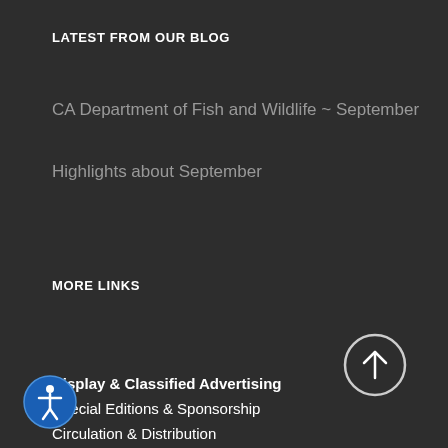LATEST FROM OUR BLOG
CA Department of Fish and Wildlife ~ September
Highlights about September
MORE LINKS
Display & Classified Advertising
Special Editions & Sponsorship
Circulation & Distribution
David James Secola, Vice President
1-562-691-2509 office
ews@juno.com
[Figure (illustration): Circular scroll-to-top button with upward arrow icon]
[Figure (illustration): Circular accessibility icon button with person figure]